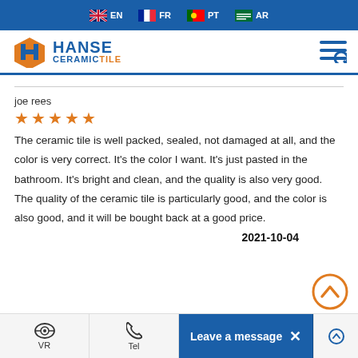EN  FR  PT  AR
[Figure (logo): Hanse Ceramic Tile logo with orange H icon and blue/orange text]
joe rees
★★★★★
The ceramic tile is well packed, sealed, not damaged at all, and the color is very correct. It's the color I want. It's just pasted in the bathroom. It's bright and clean, and the quality is also very good. The quality of the ceramic tile is particularly good, and the color is also good, and it will be bought back at a good price.
2021-10-04
VR  Tel  Leave a message  ×